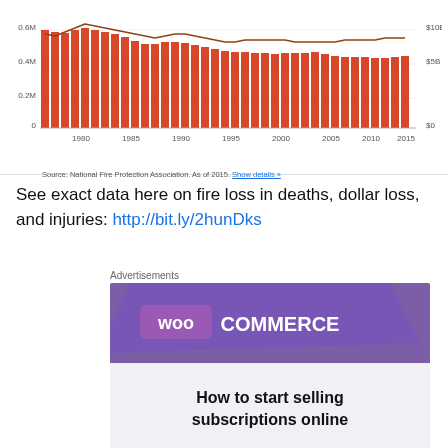[Figure (bar-chart): Fire incidents over time]
Source: National Fire Protection Association. As of 2015. Show details »
See exact data here on fire loss in deaths, dollar loss, and injuries: http://bit.ly/2hunDks
Advertisements
[Figure (screenshot): WooCommerce advertisement banner: purple and teal design with text 'How to start selling subscriptions online']